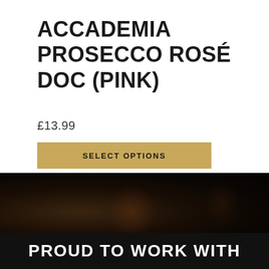ACCADEMIA PROSECCO ROSÉ DOC (PINK)
£13.99
SELECT OPTIONS
[Figure (photo): Dark background photo showing wine bottles in low light]
PROUD TO WORK WITH